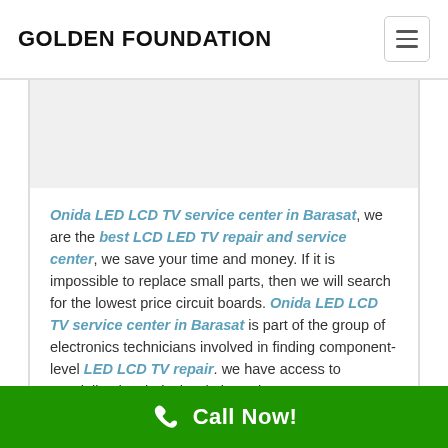GOLDEN FOUNDATION
[Figure (other): Empty gray content block / advertisement placeholder]
Onida LED LCD TV service center in Barasat, we are the best LCD LED TV repair and service center, we save your time and money. If it is impossible to replace small parts, then we will search for the lowest price circuit boards. Onida LED LCD TV service center in Barasat is part of the group of electronics technicians involved in finding component-level LED LCD TV repair. we have access to specialized technical websites where
Call Now!